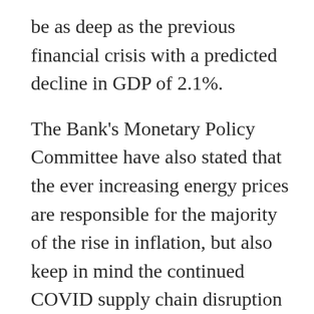be as deep as the previous financial crisis with a predicted decline in GDP of 2.1%.
The Bank's Monetary Policy Committee have also stated that the ever increasing energy prices are responsible for the majority of the rise in inflation, but also keep in mind the continued COVID supply chain disruption is still playing a significant factor in rising costs.
The MPC is also forecasting that wages will rise by 6% this year but has also warned that as the recession starts to take